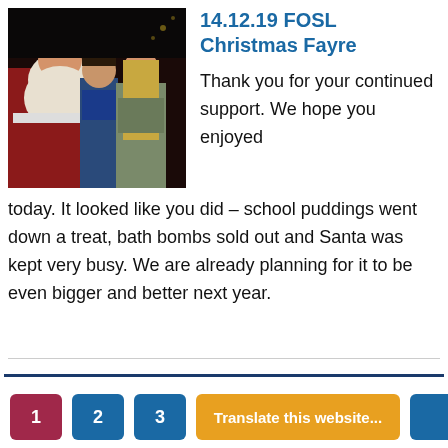[Figure (photo): Santa Claus with two children (a boy and a girl) posing together at a Christmas Fayre event]
14.12.19 FOSL Christmas Fayre
Thank you for your continued support. We hope you enjoyed today. It looked like you did – school puddings went down a treat, bath bombs sold out and Santa was kept very busy. We are already planning for it to be even bigger and better next year.
1  2  3  Translate this website...